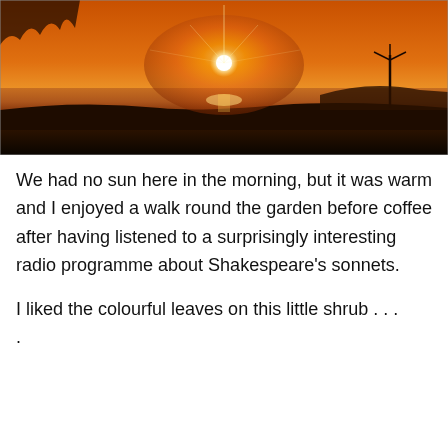[Figure (photo): Sunset over a coastal rocky shoreline with orange sky, bright sun near horizon, calm sea in the background, and a wind turbine silhouette on the right.]
We had no sun here in the morning, but it was warm and I enjoyed a walk round the garden before coffee after having listened to a surprisingly interesting radio programme about Shakespeare's sonnets.
I liked the colourful leaves on this little shrub . . .